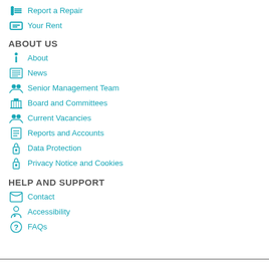Report a Repair
Your Rent
ABOUT US
About
News
Senior Management Team
Board and Committees
Current Vacancies
Reports and Accounts
Data Protection
Privacy Notice and Cookies
HELP AND SUPPORT
Contact
Accessibility
FAQs